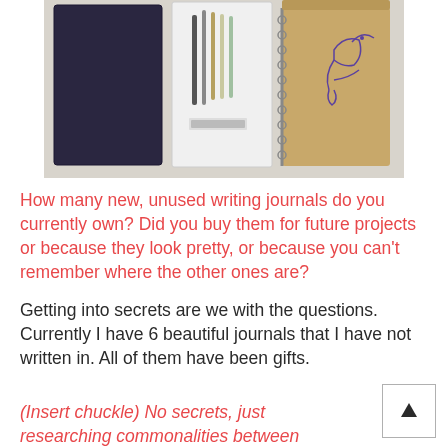[Figure (photo): Three writing journals/notebooks laid flat on a light fabric surface. Left: a dark navy hardcover journal. Center: a white journal with pens and pencils on it. Right: a tan spiral-bound notebook with a bird doodle on the cover.]
How many new, unused writing journals do you currently own? Did you buy them for future projects or because they look pretty, or because you can't remember where the other ones are?
Getting into secrets are we with the questions. Currently I have 6 beautiful journals that I have not written in. All of them have been gifts.
(Insert chuckle) No secrets, just researching commonalities between